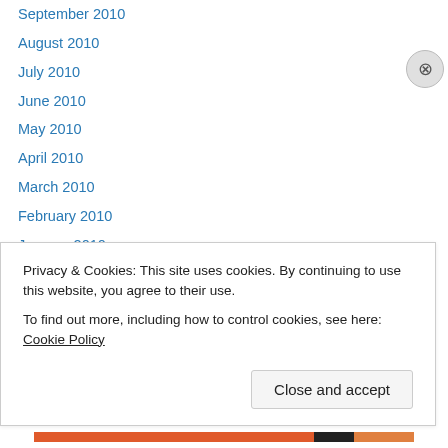September 2010
August 2010
July 2010
June 2010
May 2010
April 2010
March 2010
February 2010
January 2010
December 2009
November 2009
October 2009
September 2009
Privacy & Cookies: This site uses cookies. By continuing to use this website, you agree to their use.
To find out more, including how to control cookies, see here: Cookie Policy
Close and accept